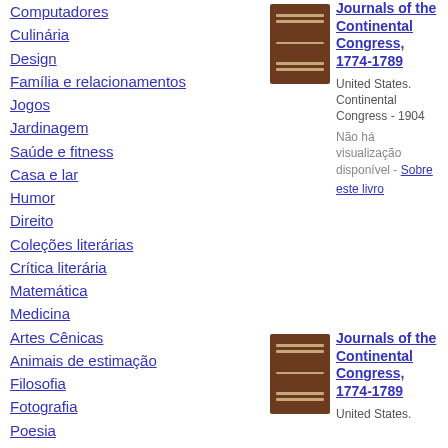Computadores
Culinária
Design
Família e relacionamentos
Jogos
Jardinagem
Saúde e fitness
Casa e lar
Humor
Direito
Coleções literárias
Crítica literária
Matemática
Medicina
Artes Cênicas
Animais de estimação
Filosofia
Fotografia
Poesia
Ciência Política
Psicologia
Religião
Autoajuda
[Figure (photo): Brown book cover for Journals of the Continental Congress, 1774-1789]
Journals of the Continental Congress, 1774-1789
United States. Continental Congress - 1904
Não há visualização disponível - Sobre este livro
[Figure (photo): Brown book cover for Journals of the Continental Congress, 1774-1789 (second entry)]
Journals of the Continental Congress, 1774-1789
United States.